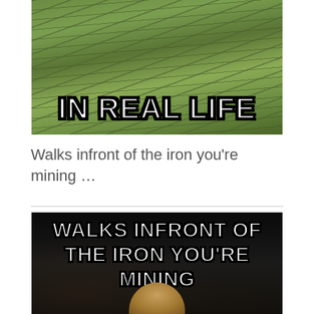[Figure (photo): Aerial photo of green terraced rice fields with bold white text overlay reading IN REAL LIFE]
Walks infront of the iron you're mining …
[Figure (photo): Dark background meme image with bold white text reading WALKS INFRONT OF THE IRON YOU'RE MINING, with a person visible at the bottom]